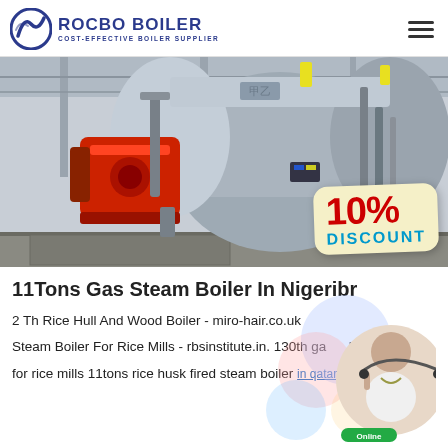ROCBO BOILER COST-EFFECTIVE BOILER SUPPLIER
[Figure (photo): Industrial gas steam boiler in a facility, large cylindrical silver boiler with red burner unit, with a 10% DISCOUNT badge overlay]
11Tons Gas Steam Boiler In Nigeribr
2 Th Rice Hull And Wood Boiler - miro-hair.co.uk Steam Boiler For Rice Mills - rbsinstitute.in. 130th gas boiler for rice mills 11tons rice husk fired steam boiler in qatar for...